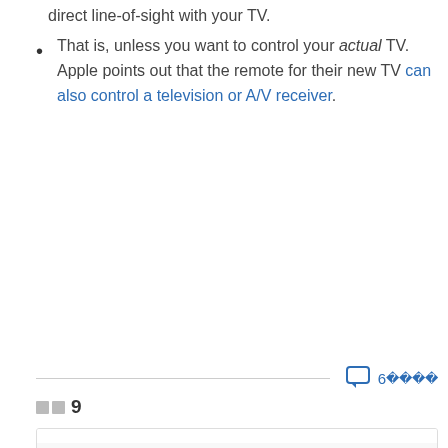direct line-of-sight with your TV.
That is, unless you want to control your actual TV. Apple points out that the remote for their new TV can also control a television or A/V receiver.
6 comments
단계 9
[Figure (photo): iFixit iOpener tool, a black elongated pouch-like heating tool with the iFixit logo on it, photographed on a white background]